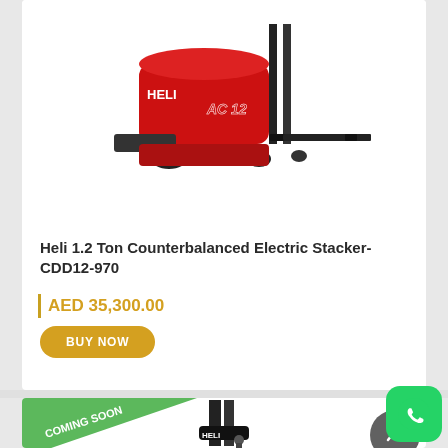[Figure (photo): Red Heli 1.2 Ton Counterbalanced Electric Stacker forklift CDD12-970 on white background, brand label AC12 on body]
Heli 1.2 Ton Counterbalanced Electric Stacker- CDD12-970
AED 35,300.00
BUY NOW
[Figure (photo): HELI black electric stacker forklift, partially visible, with Coming Soon ribbon badge overlay]
COMING SOON